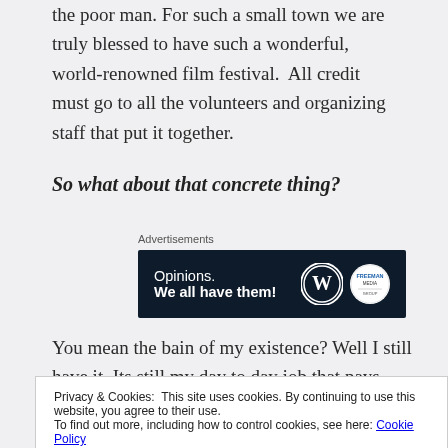the poor man. For such a small town we are truly blessed to have such a wonderful, world-renowned film festival.  All credit must go to all the volunteers and organizing staff that put it together.
So what about that concrete thing?
[Figure (other): Advertisement banner with dark navy background. Text reads: 'Opinions. We all have them!' with WordPress logo and Freeman logo on the right.]
You mean the bain of my existence? Well I still have it. Its still my day to day job that pays most of my bills and I loathe it
Privacy & Cookies:  This site uses cookies. By continuing to use this website, you agree to their use.
To find out more, including how to control cookies, see here: Cookie Policy
regular customers that always make me laugh. All that being